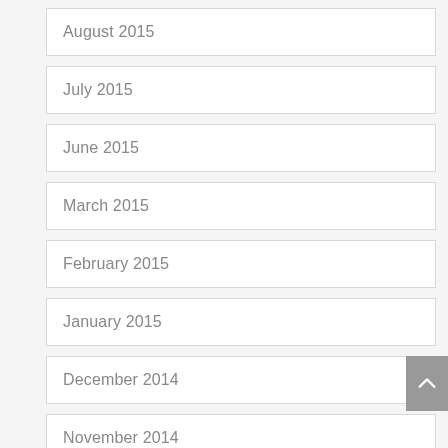August 2015
July 2015
June 2015
March 2015
February 2015
January 2015
December 2014
November 2014
September 2014
August 2014